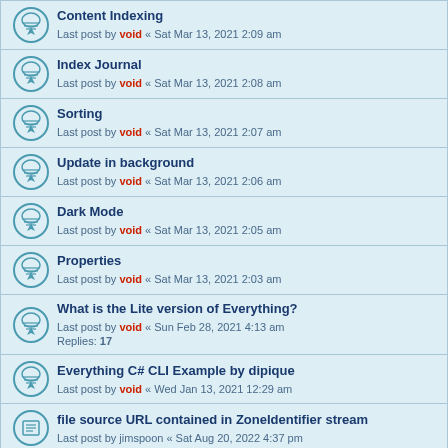Content Indexing
Last post by void « Sat Mar 13, 2021 2:09 am
Index Journal
Last post by void « Sat Mar 13, 2021 2:08 am
Sorting
Last post by void « Sat Mar 13, 2021 2:07 am
Update in background
Last post by void « Sat Mar 13, 2021 2:06 am
Dark Mode
Last post by void « Sat Mar 13, 2021 2:05 am
Properties
Last post by void « Sat Mar 13, 2021 2:03 am
What is the Lite version of Everything?
Last post by void « Sun Feb 28, 2021 4:13 am
Replies: 17
Everything C# CLI Example by dipique
Last post by void « Wed Jan 13, 2021 12:29 am
file source URL contained in ZoneIdentifier stream
Last post by jimspoon « Sat Aug 20, 2022 4:37 pm
Whenever using "dupesize:" give an option to mark files as NOT dupes
Last post by HASJ « Sat Aug 20, 2022 3:54 pm
Add a Description to a file